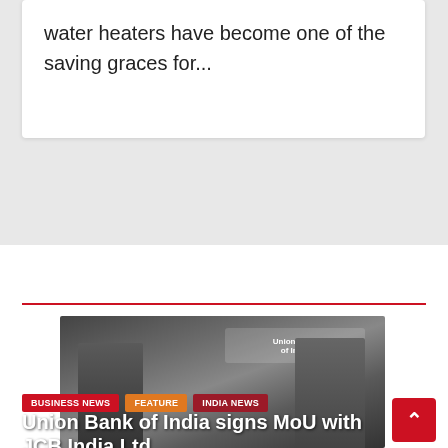water heaters have become one of the saving graces for...
FEATURED NEWS
[Figure (photo): Two men in suits shaking hands in front of a banner showing Union Bank of India and JCB logos]
BUSINESS NEWS
FEATURE
INDIA NEWS
Union Bank of India signs MoU with JCB India Ltd